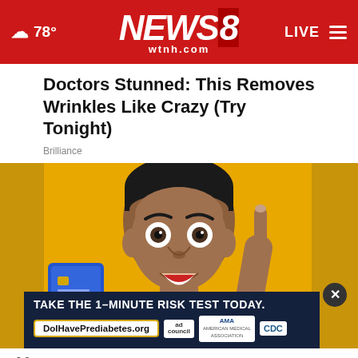☁ 78° | NEWS8 wtnh.com | LIVE
Doctors Stunned: This Removes Wrinkles Like Crazy (Try Tonight)
Brilliance
[Figure (photo): Young man with surprised expression holding a blue credit card and pointing one finger up, against a yellow background, wearing a white t-shirt]
TAKE THE 1-MINUTE RISK TEST TODAY. DoIHavePrediabetes.org | ad | AMA | CDC
Ha...